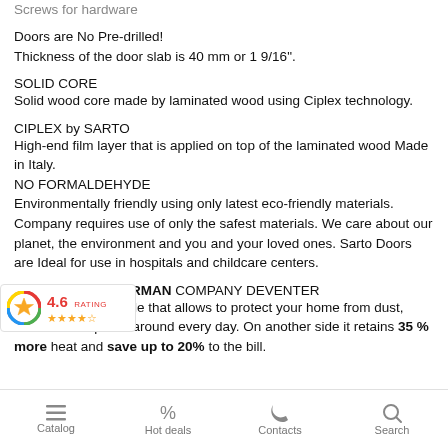Screws for hardware
Doors are No Pre-drilled!
Thickness of the door slab is 40 mm or 1 9/16".
SOLID CORE
Solid wood core made by laminated wood using Ciplex technology.
CIPLEX by SARTO
High-end film layer that is applied on top of the laminated wood Made in Italy.
NO FORMALDEHYDE
Environmentally friendly using only latest eco-friendly materials. Company requires use of only the safest materials. We care about our planet, the environment and you and your loved ones. Sarto Doors are Ideal for use in hospitals and childcare centers.
SEALING GUM GERMAN COMPANY DEVENTER
It has a special profile that allows to protect your home from dust, makes atmosphere around every day. On another side it retains 35 % more heat and save up to 20% to the bill.
[Figure (logo): Google rating badge showing 4.6 rating with star icons]
Catalog   Hot deals   Contacts   Search